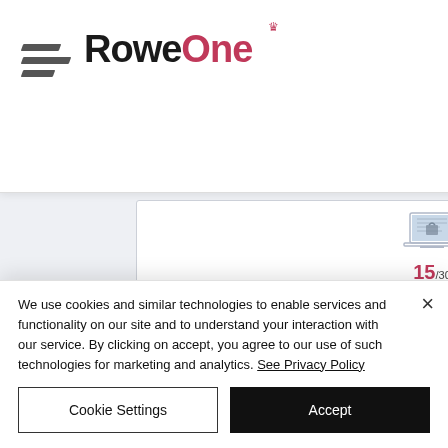[Figure (screenshot): RoweOne website header with logo, diagonal stripe icon, and social media icons (LinkedIn, Facebook, Instagram). A small popup in top-right corner shows 'RESPONSIVE' label with a red X button and body text about responsive design. Below the header is a website performance preview showing a laptop icon, score 15/30, 'Performance' heading, description text, and three metric circles for PAGE SIZE, PAGE REQUESTS, PAGE SPEED.]
We use cookies and similar technologies to enable services and functionality on our site and to understand your interaction with our service. By clicking on accept, you agree to our use of such technologies for marketing and analytics. See Privacy Policy
Cookie Settings
Accept